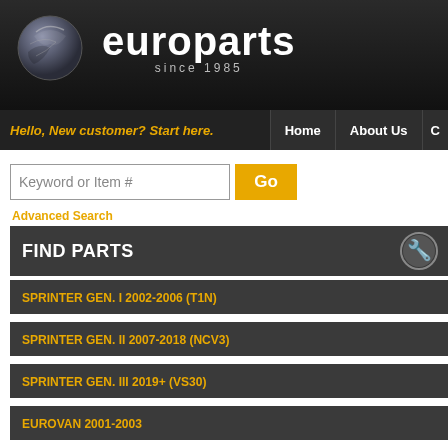[Figure (logo): Europarts logo with globe icon and text 'europarts since 1985' on dark background]
Hello, New customer? Start here.   Home   About Us   C
Keyword or Item #
Go
Advanced Search
Engine Electrical Components » Glow Plu
DELPHI/LOCKHEED-UK
FIND PARTS
SPRINTER GEN. I 2002-2006 (T1N)
SPRINTER GEN. II 2007-2018 (NCV3)
SPRINTER GEN. III 2019+ (VS30)
METRIS 2016-2020
EUROVAN 2001-2003
EUROVAN 1997-2000
EUROVAN 1992-1996
[Figure (photo): Placeholder camera icon indicating product image coming soon]
Product imag coming soon